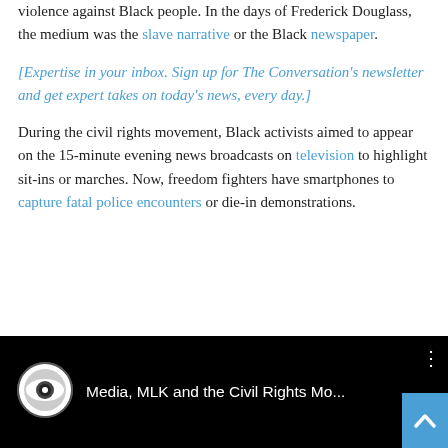trate or protest, using any available medium that it can to track violence against Black people. In the days of Frederick Douglass, the medium was the slave narrative or the Black newspaper.
[Expertise in your inbox. Sign up for The Conversation's newsletter and get expert takes on today's news, every day.]
During the civil rights movement, Black activists aimed to appear on the 15-minute evening news broadcasts on television to highlight sit-ins or marches. Now, freedom fighters have smartphones to capture fatal police encounters or die-in demonstrations.
[Figure (screenshot): YouTube video thumbnail showing CBS News logo and title 'Media, MLK and the Civil Rights Mo...' with a three-dot menu icon and a blue scroll-to-top button in the bottom right.]